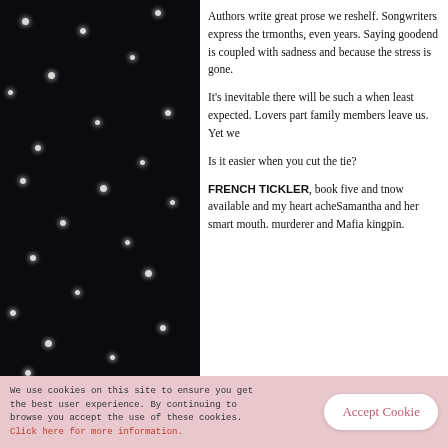[Figure (photo): Dark background photo with scattered white bokeh dots resembling lights or snowflakes on black]
Authors write great prose we re- shelf. Songwriters express the tr- months, even years. Saying good- end is coupled with sadness and because the stress is gone.

It's inevitable there will be such a when least expected. Lovers part family members leave us. Yet we

Is it easier when you cut the tie?

FRENCH TICKLER, book five and t- now available and my heart ache- Samantha and her smart mouth. murderer and Mafia kingpin.
[Figure (photo): Book cover image with orange text reading 'Sloane Taylor' on a dark brown background]
We use cookies on this site to ensure you get the best user experience. By continuing to browse you accept the use of these cookies. Click here for more information.
Accept Cookie